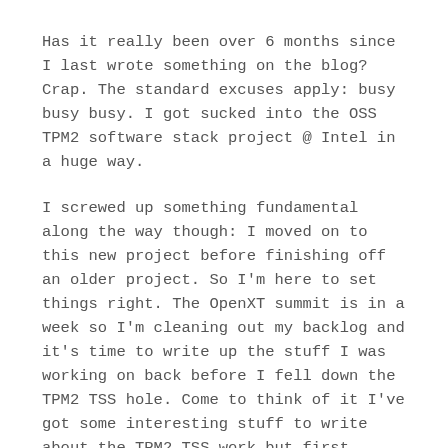Has it really been over 6 months since I last wrote something on the blog? Crap. The standard excuses apply: busy busy busy. I got sucked into the OSS TPM2 software stack project @ Intel in a huge way.
I screwed up something fundamental along the way though: I moved on to this new project before finishing off an older project. So I'm here to set things right. The OpenXT summit is in a week so I'm cleaning out my backlog and it's time to write up the stuff I was working on back before I fell down the TPM2 TSS hole. Come to think of it I've got some interesting stuff to write about the TPM2 TSS work but first things first: TPM2 in EFI and Grub2.